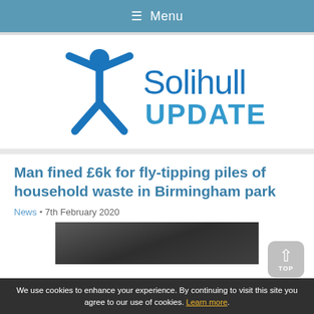☰ Menu
[Figure (logo): Solihull Updates logo — blue figure with arms raised and text 'Solihull UPDATES']
Man fined £6k for fly-tipping piles of household waste in Birmingham park
News • 7th February 2020
[Figure (photo): Dark textured photo, partially visible, appears to show waste material on ground]
We use cookies to enhance your experience. By continuing to visit this site you agree to our use of cookies. Learn more.